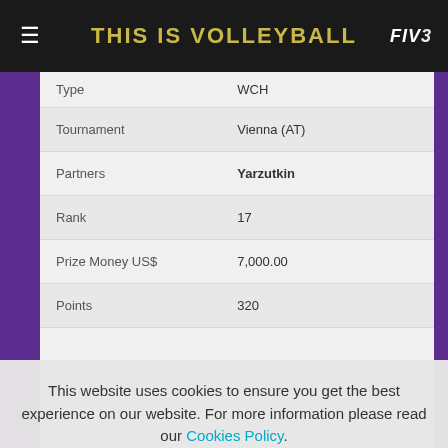THIS IS VOLLEYBALL
| Type | WCH |
| Tournament | Vienna (AT) |
| Partners | Yarzutkin |
| Rank | 17 |
| Prize Money US$ | 7,000.00 |
| Points | 320 |
This website uses cookies to ensure you get the best experience on our website. For more information please read our Cookies Policy.